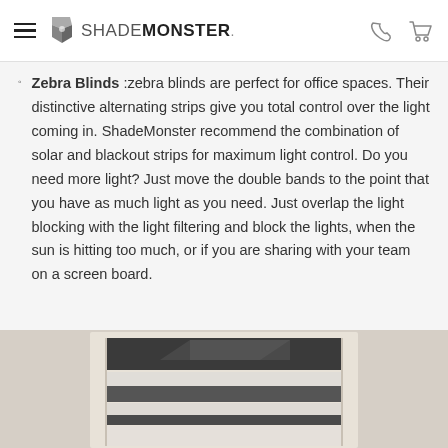SHADEMONSTER
Zebra Blinds :zebra blinds are perfect for office spaces. Their distinctive alternating strips give you total control over the light coming in. ShadeMonster recommend the combination of solar and blackout strips for maximum light control. Do you need more light? Just move the double bands to the point that you have as much light as you need. Just overlap the light blocking with the light filtering and block the lights, when the sun is hitting too much, or if you are sharing with your team on a screen board.
[Figure (photo): Photo of zebra blinds on a window showing alternating light and dark horizontal strips with a beige/cream colored frame and wall background.]